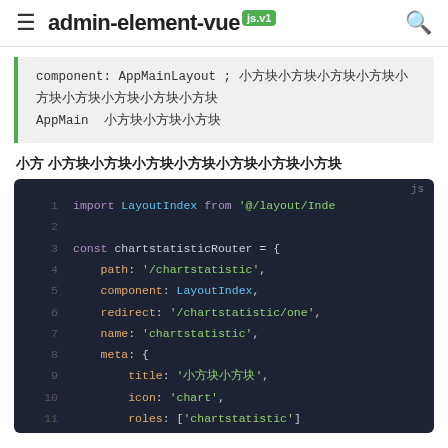≡ admin-element-vue js.v1 🔍
component: AppMainLayout ; 路由组件使用的是布局组件
AppMain 组件
以 chartstatisticRouter 为例
[Figure (screenshot): Dark-themed code block showing JavaScript router configuration with line numbers 1-11. Code imports LayoutIndex from '@/layout/Index' and defines chartstatisticRouter object with path, component, redirect, name, meta (title, icon, roles) fields.]